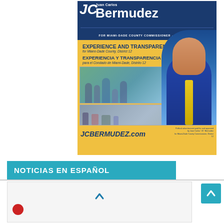[Figure (infographic): Political campaign advertisement for Juan Carlos 'JC' Bermudez for Miami-Dade County Commissioner District 12. Features dark blue header with name logo, yellow section with bilingual slogans 'EXPERIENCE AND TRANSPARENCY for Miami-Dade County, District 12' and 'EXPERIENCIA Y TRANSPARENCIA para el Condado de Miami-Dade, Distrito 12', family photo, community event photo, candidate portrait photo on right side, website JCBERMUDEZ.com and disclaimer text.]
NOTICIAS EN ESPAÑOL